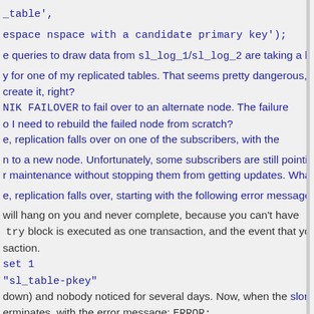_table',
espace nspace with a candidate primary key');
e queries to draw data from sl_log_1/sl_log_2 are taking a long
y for one of my replicated tables. That seems pretty dangerous,
create it, right?
NIK FAILOVER to fail over to an alternate node. The failure
o I need to rebuild the failed node from scratch?
e, replication falls over on one of the subscribers, with the
n to a new node. Unfortunately, some subscribers are still pointing
r maintenance without stopping them from getting updates. What
e, replication falls over, starting with the following error message:
will hang on you and never complete, because you can't have
try block is executed as one transaction, and the event that you
saction.
set 1
"sl_table-pkey"
down) and nobody noticed for several days. Now, when the slon
erminates, with the error message: ERROR:
t selection What's wrong, and what do I do?